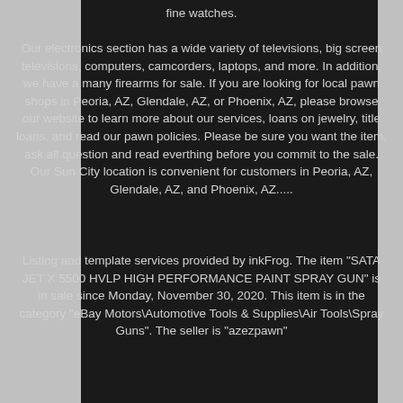fine watches.

Our electronics section has a wide variety of televisions, big screen televisions, computers, camcorders, laptops, and more. In addition, we have a many firearms for sale. If you are looking for local pawn shops in Peoria, AZ, Glendale, AZ, or Phoenix, AZ, please browse our website to learn more about our services, loans on jewelry, title loans, and read our pawn policies. Please be sure you want the item, ask all question and read everthing before you commit to the sale. Our Sun City location is convenient for customers in Peoria, AZ, Glendale, AZ, and Phoenix, AZ.....
Listing and template services provided by inkFrog. The item "SATA JET X 5500 HVLP HIGH PERFORMANCE PAINT SPRAY GUN" is in sale since Monday, November 30, 2020. This item is in the category "eBay Motors\Automotive Tools & Supplies\Air Tools\Spray Guns". The seller is "azezpawn"